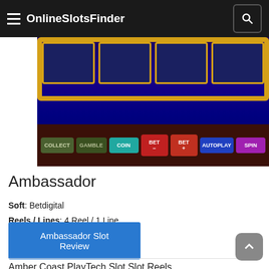OnlineSlotsFinder
[Figure (screenshot): Screenshot of a slot machine game interface showing reels at top with yellow border and game control buttons at bottom including COLLECT, GAMBLE, COIN, BET-, BET+, AUTOPLAY, and SPIN buttons]
Ambassador
Soft: Betdigital
Reels / Lines: 4 Reel / 1 Line
Type: Classic, Wheel of Fortune
MinBet / MaxBet : $0 - $0
Ambassador Slot Review
Amber Coast PlayTech Slot Slot Reels